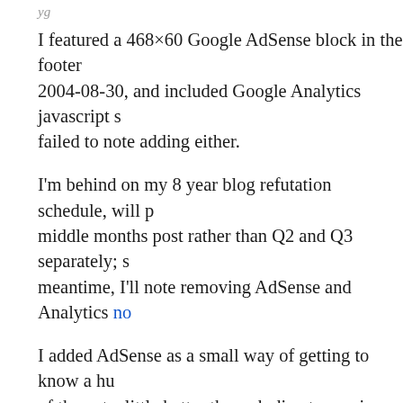...y...g...
I featured a 468×60 Google AdSense block in the footer 2004-08-30, and included Google Analytics javascript s... failed to note adding either.
I'm behind on my 8 year blog refutation schedule, will p... middle months post rather than Q2 and Q3 separately; s... meantime, I'll note removing AdSense and Analytics no...
I added AdSense as a small way of getting to know a hu... of the net a little better through direct experience. My re... were met over the years — trivial, due to trivial traffic a... innocuous placement. Viewing my blog with a browser ... flash for the first time in perhaps years just now prompt... this post, which I had planned to do in the fullness of ti... placement was still ugly, and with flash enabled all of th... and many animated. Clearly I have learned all I am capa... this experience, to which I conclude I did. If I wrote ...